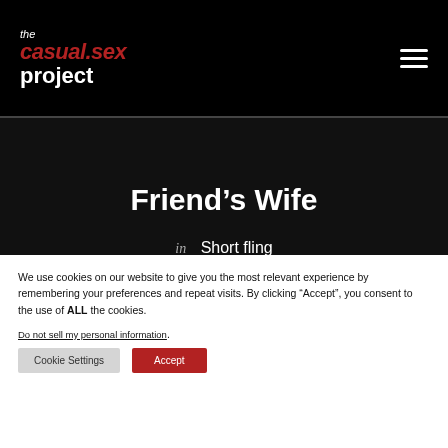the casual.sex project
Friend’s Wife
in  Short fling
Story Views: 249,315
We use cookies on our website to give you the most relevant experience by remembering your preferences and repeat visits. By clicking “Accept”, you consent to the use of ALL the cookies.
Do not sell my personal information.
Cookie Settings  Accept